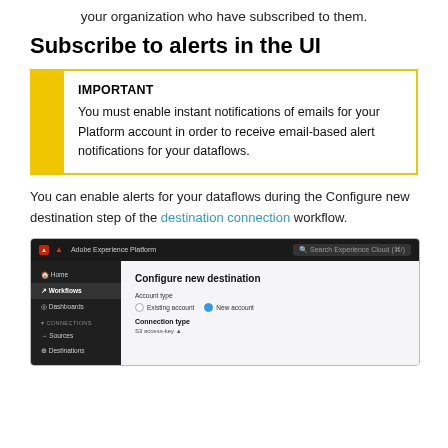your organization who have subscribed to them.
Subscribe to alerts in the UI
IMPORTANT
You must enable instant notifications of emails for your Platform account in order to receive email-based alert notifications for your dataflows.
You can enable alerts for your dataflows during the Configure new destination step of the destination connection workflow.
[Figure (screenshot): Screenshot of Adobe Experience Platform UI showing 'Configure new destination' page with account type selection (Existing account / New account) and Connection type section showing S3 access-key option. Left sidebar shows navigation items: Home, Workflows (active), Dashboards, and under CONNECTIONS: Sources, Destinations.]